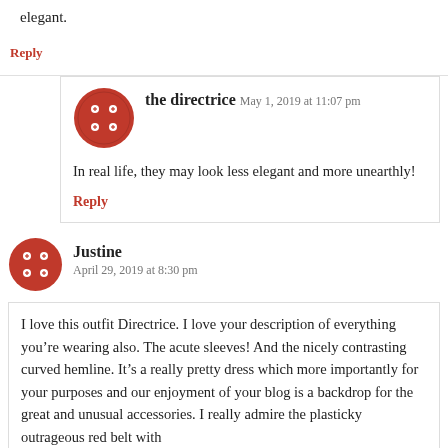elegant.
Reply
the directrice
May 1, 2019 at 11:07 pm
In real life, they may look less elegant and more unearthly!
Reply
Justine
April 29, 2019 at 8:30 pm
I love this outfit Directrice. I love your description of everything you’re wearing also. The acute sleeves! And the nicely contrasting curved hemline. It’s a really pretty dress which more importantly for your purposes and our enjoyment of your blog is a backdrop for the great and unusual accessories. I really admire the plasticky outrageous red belt with